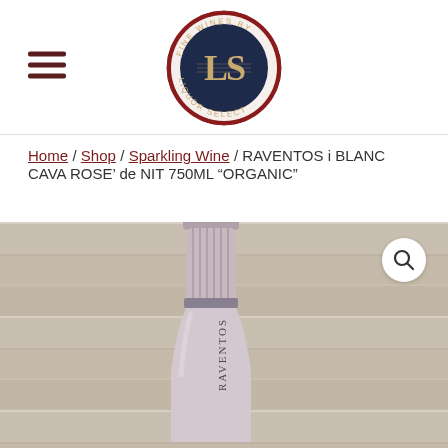[Figure (logo): Fine Wines by Liquor Select circular logo with LS initials in dark blue and red border]
Home / Shop / Sparkling Wine / RAVENTOS i BLANC CAVA ROSE’ de NIT 750ML “ORGANIC”
[Figure (photo): Close-up photo of the neck and top of a Raventos sparkling wine bottle in silver/rose metallic foil, against a wooden plank background]